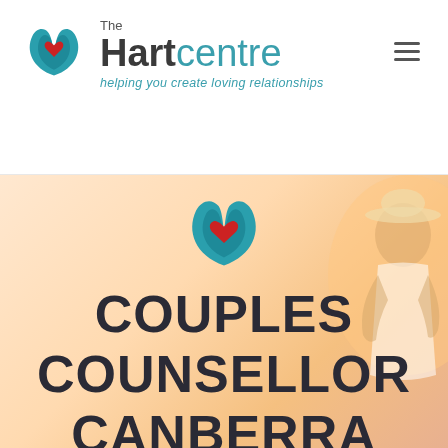[Figure (logo): The Hart Centre logo with teal hands/wings and red heart, with text 'The Hartcentre' and tagline 'helping you create loving relationships']
[Figure (photo): Website screenshot showing The Hart Centre header with logo and hamburger menu, and a hero section with warm peach/sunset background with a couple, large Hart Centre logo icon, and text 'COUPLES COUNSELLOR CANBERRA']
COUPLES COUNSELLOR CANBERRA